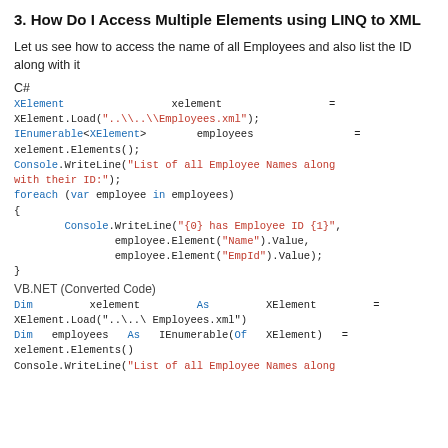3. How Do I Access Multiple Elements using LINQ to XML
Let us see how to access the name of all Employees and also list the ID along with it
C#
XElement                 xelement                 =
XElement.Load("..\\..\\Employees.xml");
IEnumerable<XElement>        employees                =
xelement.Elements();
Console.WriteLine("List of all Employee Names along with their ID:");
foreach (var employee in employees)
{
    Console.WriteLine("{0} has Employee ID {1}",
            employee.Element("Name").Value,
            employee.Element("EmpId").Value);
}
VB.NET (Converted Code)
Dim         xelement         As         XElement         =
XElement.Load("..\..\Employees.xml")
Dim  employees  As  IEnumerable(Of  XElement)  =
xelement.Elements()
Console.WriteLine("List of all Employee Names along with their ID:")